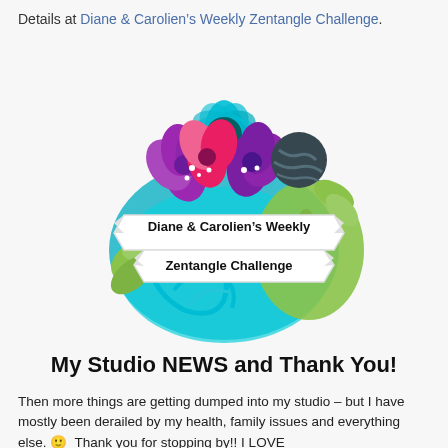Details at Diane & Carolien's Weekly Zentangle Challenge.
[Figure (logo): Colorful floral zentangle logo with banner reading 'Diane & Carolien's Weekly Zentangle Challenge'. Features purple and pink flowers, green leaves, teal swirls, and decorative zentangle patterns.]
My Studio NEWS and Thank You!
Then more things are getting dumped into my studio – but I have mostly been derailed by my health, family issues and everything else. 🙂  Thank you for stopping by!! I LOVE